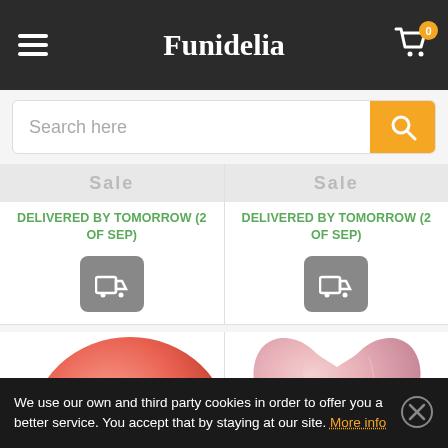Funidelia
Search here
DELIVERED BY TOMORROW (2 OF SEP)
DELIVERED BY TOMORROW (2 OF SEP)
[Figure (photo): Two balloon product images at bottom of page]
We use our own and third party cookies in order to offer you a better service. You accept that by staying at our site. More info